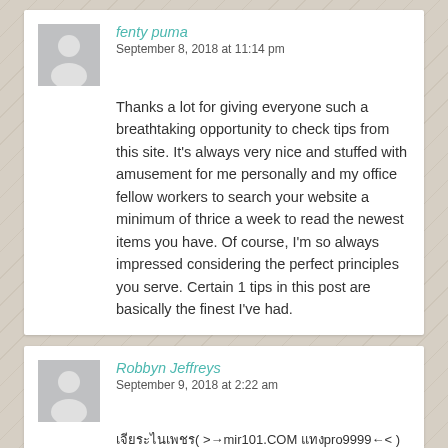fenty puma
September 8, 2018 at 11:14 pm
Thanks a lot for giving everyone such a breathtaking opportunity to check tips from this site. It's always very nice and stuffed with amusement for me personally and my office fellow workers to search your website a minimum of thrice a week to read the newest items you have. Of course, I'm so always impressed considering the perfect principles you serve. Certain 1 tips in this post are basically the finest I've had.
Robbyn Jeffreys
September 9, 2018 at 2:22 am
เจียระไนเพชร( >→mir101.COM แทงpro9999←< ) แทง หวย เจียระไน-http://www.mir101.com/ เจียระไน-http://nave88.com/ เจียระไน-http://www.mir101.com/ เจียระไน-http://nave88.com/